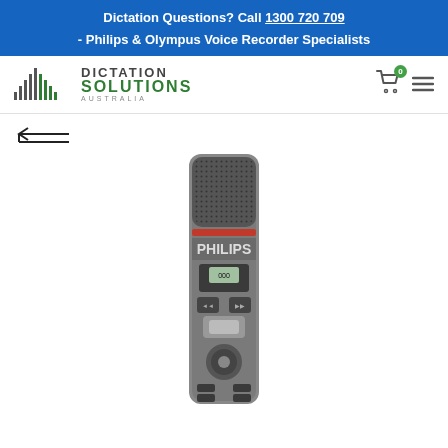Dictation Questions? Call 1300 720 709 - Philips & Olympus Voice Recorder Specialists
[Figure (logo): Dictation Solutions Australia logo with waveform icon and green text]
← back navigation arrow
[Figure (photo): Philips SpeechMike Premium dictation microphone, silver/grey device with buttons, display, and mesh microphone grille at top]